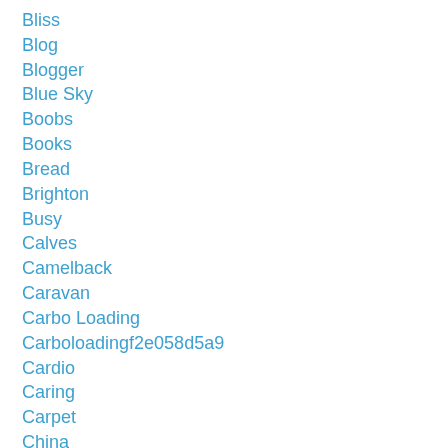Bliss
Blog
Blogger
Blue Sky
Boobs
Books
Bread
Brighton
Busy
Calves
Camelback
Caravan
Carbo Loading
Carboloadingf2e058d5a9
Cardio
Caring
Carpet
China
Chinese
Chinglish
Chocolate Milk